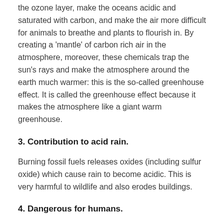the ozone layer, make the oceans acidic and saturated with carbon, and make the air more difficult for animals to breathe and plants to flourish in. By creating a 'mantle' of carbon rich air in the atmosphere, moreover, these chemicals trap the sun's rays and make the atmosphere around the earth much warmer: this is the so-called greenhouse effect. It is called the greenhouse effect because it makes the atmosphere like a giant warm greenhouse.
3. Contribution to acid rain.
Burning fossil fuels releases oxides (including sulfur oxide) which cause rain to become acidic. This is very harmful to wildlife and also erodes buildings.
4. Dangerous for humans.